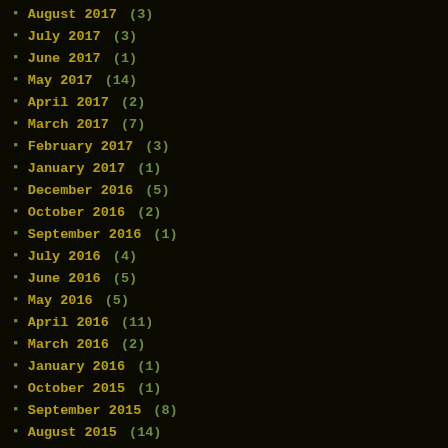August 2017 (3)
July 2017 (3)
June 2017 (1)
May 2017 (14)
April 2017 (2)
March 2017 (7)
February 2017 (3)
January 2017 (1)
December 2016 (5)
October 2016 (2)
September 2016 (1)
July 2016 (4)
June 2016 (5)
May 2016 (5)
April 2016 (11)
March 2016 (2)
January 2016 (1)
October 2015 (1)
September 2015 (8)
August 2015 (14)
July 2015 (3)
June 2015 (9)